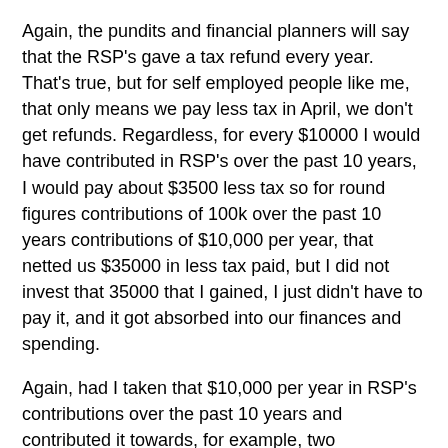Again, the pundits and financial planners will say that the RSP's gave a tax refund every year. That's true, but for self employed people like me, that only means we pay less tax in April, we don't get refunds. Regardless, for every $10000 I would have contributed in RSP's over the past 10 years, I would pay about $3500 less tax so for round figures contributions of 100k over the past 10 years contributions of $10,000 per year, that netted us $35000 in less tax paid, but I did not invest that 35000 that I gained, I just didn't have to pay it, and it got absorbed into our finances and spending.
Again, had I taken that $10,000 per year in RSP's contributions over the past 10 years and contributed it towards, for example, two townhomes, one townhouse purchase in year 3 (after 3 years of 10k per year equaling 30k in RSP's savings) which would have been 7 years ago or 2002 and another after 6 years of contributions, ( again, another 30k after 3 years of savings), that would have been a second purchase of a townhouse in 2005, the increase in value is absolutely astounding. The first townhouse purchase in 2002 would have cost us about 210,000 ( I just checked and that's what townhomes were selling for, for example, at